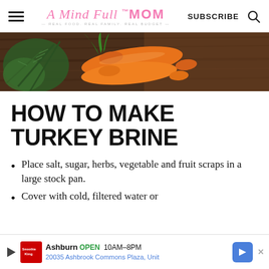A Mind Full Mom — REAL FOOD. REAL FAMILY. REAL BUDGET. | SUBSCRIBE
[Figure (photo): Close-up of carrots and rosemary herbs on a dark wooden surface]
HOW TO MAKE TURKEY BRINE
Place salt, sugar, herbs, vegetable and fruit scraps in a large stock pan.
Cover with cold, filtered water or
Ad: Ashburn OPEN 10AM–8PM  20035 Ashbrook Commons Plaza, Unit